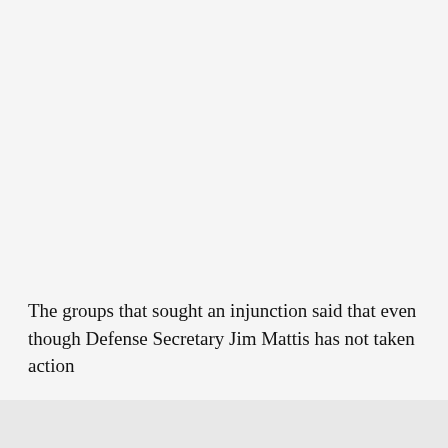The groups that sought an injunction said that even though Defense Secretary Jim Mattis has not taken action